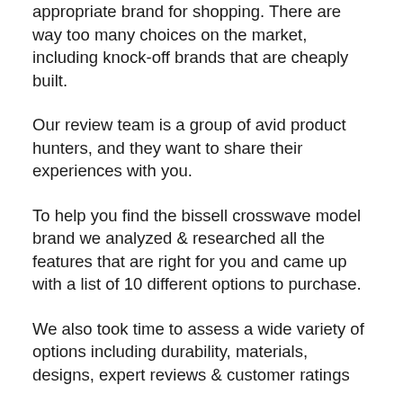appropriate brand for shopping. There are way too many choices on the market, including knock-off brands that are cheaply built.
Our review team is a group of avid product hunters, and they want to share their experiences with you.
To help you find the bissell crosswave model brand we analyzed & researched all the features that are right for you and came up with a list of 10 different options to purchase.
We also took time to assess a wide variety of options including durability, materials, designs, expert reviews & customer ratings